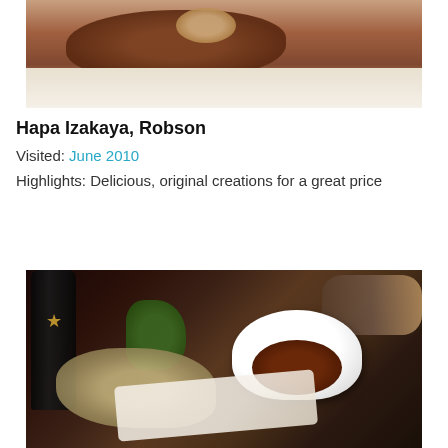[Figure (photo): Close-up photo of a cooked steak with caramelized onions and garnish on a white plate]
Hapa Izakaya, Robson
Visited: June 2010
Highlights: Delicious, original creations for a great price
[Figure (photo): Photo of Japanese izakaya food on a wooden board: tempura-style battered food, fresh herbs, a white bowl with dark dipping sauce, beer bottle in background]